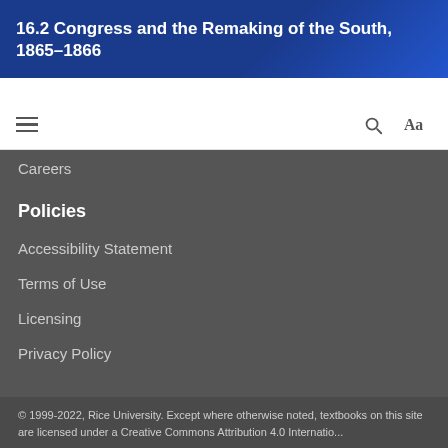16.2 Congress and the Remaking of the South, 1865–1866
Careers
Policies
Accessibility Statement
Terms of Use
Licensing
Privacy Policy
© 1999-2022, Rice University. Except where otherwise noted, textbooks on this site are licensed under a Creative Commons Attribution 4.0 International